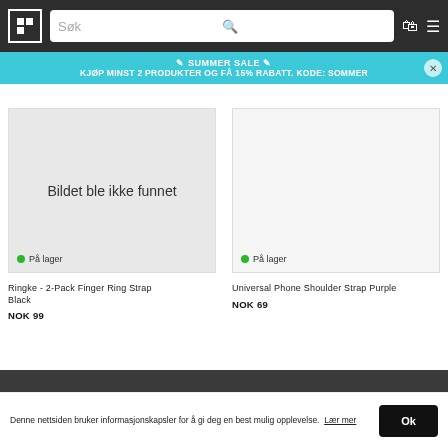[Figure (screenshot): E-commerce website header with dark background, logo, search bar, cart icon, and menu icon]
✉ SUMMER SALE ✉
KJØP MINST 2 PRODUKTER OG FÅ 15% RABATT. KODE: SOMMER
[Figure (photo): Product image placeholder showing 'Bildet ble ikke funnet' (Image not found) with På lager (In stock) badge]
[Figure (photo): Product image for Universal Phone Shoulder Strap Purple, light grey background, with På lager badge]
Ringke - 2-Pack Finger Ring Strap Black
NOK 99
Universal Phone Shoulder Strap Purple
NOK 69
Denne nettsiden bruker informasjonskapsler for å gi deg en best mulig opplevelse. Lær mer